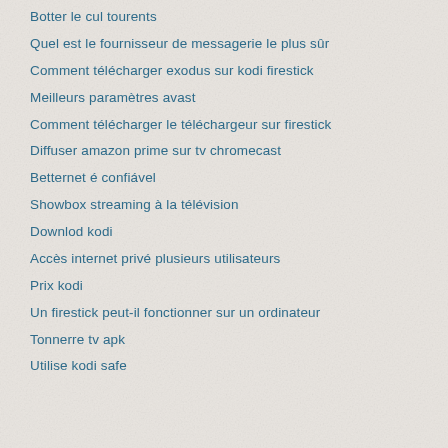Botter le cul tourents
Quel est le fournisseur de messagerie le plus sûr
Comment télécharger exodus sur kodi firestick
Meilleurs paramètres avast
Comment télécharger le téléchargeur sur firestick
Diffuser amazon prime sur tv chromecast
Betternet é confiável
Showbox streaming à la télévision
Downlod kodi
Accès internet privé plusieurs utilisateurs
Prix kodi
Un firestick peut-il fonctionner sur un ordinateur
Tonnerre tv apk
Utilise kodi safe